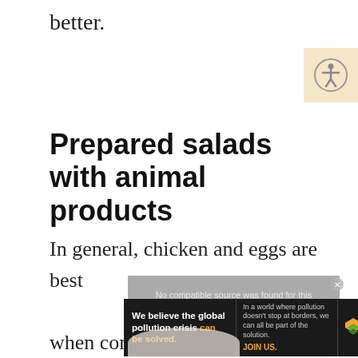better.
[Figure (illustration): Accessibility icon button — circular person with arms extended, on a warm beige/tan background square, positioned in top-right corner.]
Prepared salads with animal products
In general, chicken and eggs are best when consumed within 1-2 days of being prepared. Refrigerate them in
[Figure (screenshot): Video player overlay with grayed-out background and text 'No compatible source was found for this' with a close (X) button.]
[Figure (infographic): Pure Earth advertisement banner: dark background, white bold text 'We believe the global pollution crisis can be solved.' with 'can be solved.' in yellow/orange. Middle section: 'In a world where pollution doesn't stop at borders, we can all be part of the solution. JOIN US.' in small text with JOIN US in yellow. Right: Pure Earth logo with green layered diamond/leaf icon and white PURE EARTH text.]